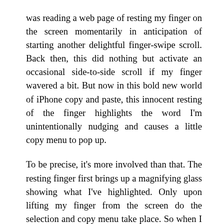was reading a web page of resting my finger on the screen momentarily in anticipation of starting another delightful finger-swipe scroll. Back then, this did nothing but activate an occasional side-to-side scroll if my finger wavered a bit. But now in this bold new world of iPhone copy and paste, this innocent resting of the finger highlights the word I'm unintentionally nudging and causes a little copy menu to pop up.

To be precise, it's more involved than that. The resting finger first brings up a magnifying glass showing what I've highlighted. Only upon lifting my finger from the screen do the selection and copy menu take place. So when I notice the magnifying glass, I have to first raise my finger to get the selection and menu, then tap somewhere else on the screen and lift my finger again for these to go